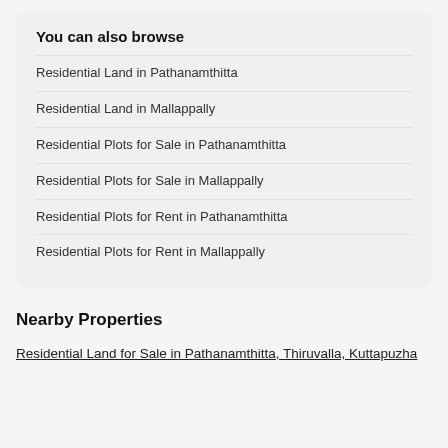You can also browse
Residential Land in Pathanamthitta
Residential Land in Mallappally
Residential Plots for Sale in Pathanamthitta
Residential Plots for Sale in Mallappally
Residential Plots for Rent in Pathanamthitta
Residential Plots for Rent in Mallappally
Nearby Properties
Residential Land for Sale in Pathanamthitta, Thiruvalla, Kuttapuzha